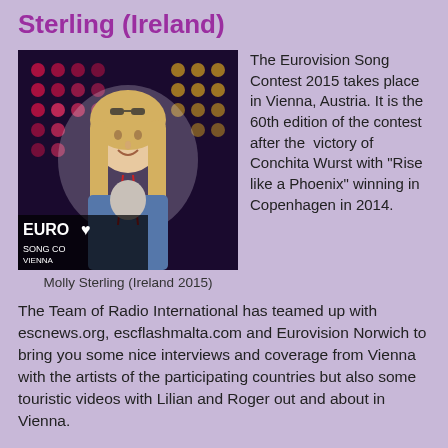Sterling (Ireland)
[Figure (photo): Photo of Molly Sterling at Eurovision Song Contest 2015 Vienna venue, with Eurovision SONG CONTEST VIENNA logo visible in background. Young blonde woman wearing denim jacket.]
Molly Sterling (Ireland 2015)
The Eurovision Song Contest 2015 takes place in Vienna, Austria. It is the 60th edition of the contest after the victory of Conchita Wurst with "Rise like a Phoenix" winning in Copenhagen in 2014.
The Team of Radio International has teamed up with escnews.org, escflashmalta.com and Eurovision Norwich to bring you some nice interviews and coverage from Vienna with the artists of the participating countries but also some touristic videos with Lilian and Roger out and about in Vienna.